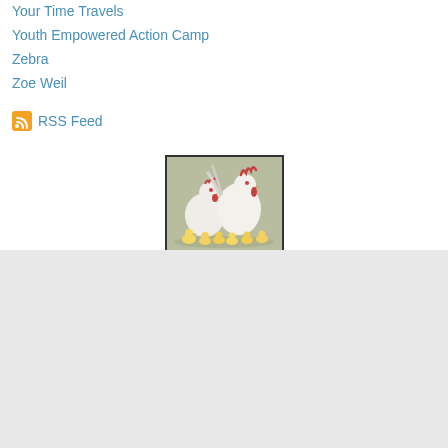Your Time Travels
Youth Empowered Action Camp
Zebra
Zoe Weil
RSS Feed
[Figure (photo): Two white chickens (a hen and a rooster) standing with several small yellow chicks on the ground around them, against a light gray/green background.]